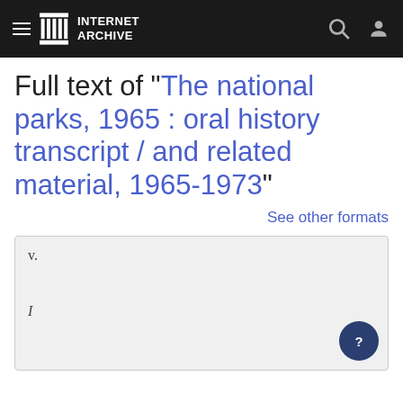INTERNET ARCHIVE
Full text of "The national parks, 1965 : oral history transcript / and related material, 1965-1973"
See other formats
v.

I